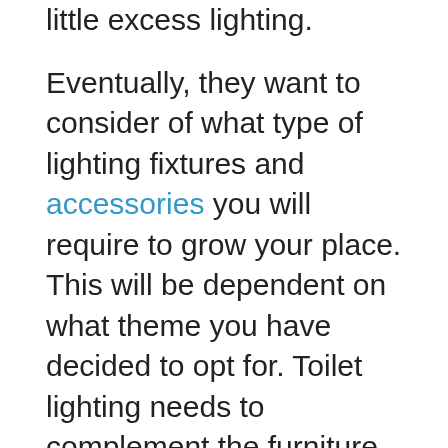little excess lighting.
Eventually, they want to consider of what type of lighting fixtures and accessories you will require to grow your place. This will be dependent on what theme you have decided to opt for. Toilet lighting needs to complement the furniture and also the colors of the room. Attempt to locate cheap items you may use to change out fixtures. Additionally, make an effort to locate some lighting that it is possible to put on low voltage, that you can usually find at any home center store.
Toilet remodeling could be an enjoyable job which you may do yourself with the help of a professional. Before you begin searching for